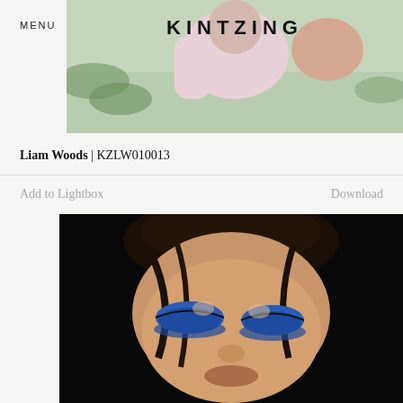MENU
[Figure (photo): Fashion photo of a person wearing pink/white clothing outdoors with greenery, with KINTZING text overlaid]
Liam Woods | KZLW010013
Add to Lightbox
Download
[Figure (photo): Close-up portrait of a person with blue eyeshadow makeup against a dark/black background]